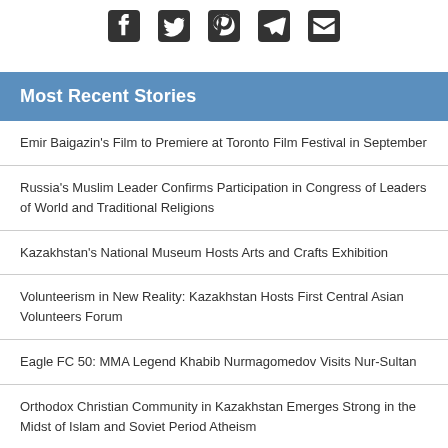[Figure (other): Social media sharing icons: Facebook, Twitter, Pinterest, Telegram, Email]
Most Recent Stories
Emir Baigazin's Film to Premiere at Toronto Film Festival in September
Russia's Muslim Leader Confirms Participation in Congress of Leaders of World and Traditional Religions
Kazakhstan's National Museum Hosts Arts and Crafts Exhibition
Volunteerism in New Reality: Kazakhstan Hosts First Central Asian Volunteers Forum
Eagle FC 50: MMA Legend Khabib Nurmagomedov Visits Nur-Sultan
Orthodox Christian Community in Kazakhstan Emerges Strong in the Midst of Islam and Soviet Period Atheism
Kazakhstan's Baiterek Holding Acquires Sberbank Subsidiary